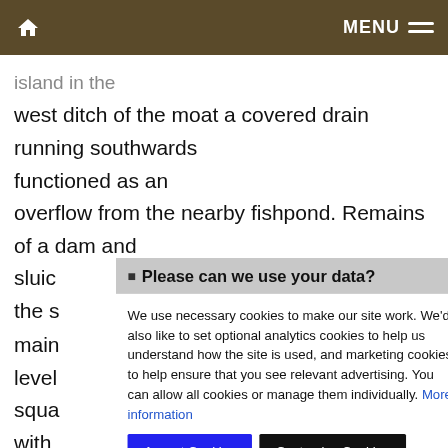Home | MENU
island in the west ditch of the moat a covered drain running southwards functioned as an overflow from the nearby fishpond. Remains of a dam and sluice... the ... main... level... square... with... This... Castle... below... nt almost... though... le and ... for p... held by
Please can we use your data?

We use necessary cookies to make our site work. We'd also like to set optional analytics cookies to help us understand how the site is used, and marketing cookies to help ensure that you see relevant advertising. You can allow all cookies or manage them individually. More information
Accept Cookies | Customise Cookies